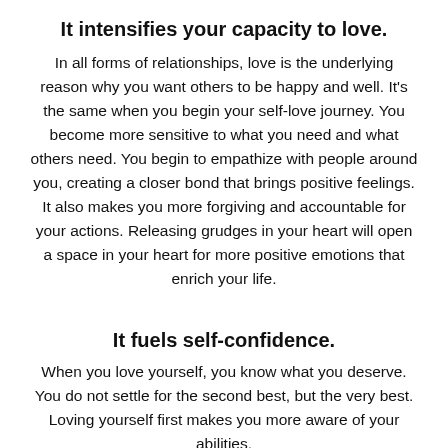It intensifies your capacity to love.
In all forms of relationships, love is the underlying reason why you want others to be happy and well. It's the same when you begin your self-love journey. You become more sensitive to what you need and what others need. You begin to empathize with people around you, creating a closer bond that brings positive feelings. It also makes you more forgiving and accountable for your actions. Releasing grudges in your heart will open a space in your heart for more positive emotions that enrich your life.
It fuels self-confidence.
When you love yourself, you know what you deserve. You do not settle for the second best, but the very best. Loving yourself first makes you more aware of your abilities,